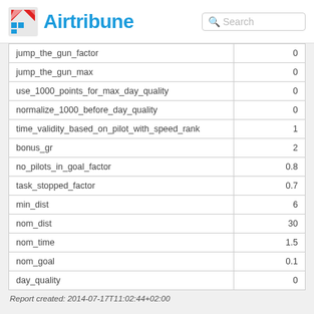Airtribune
| jump_the_gun_factor | 0 |
| jump_the_gun_max | 0 |
| use_1000_points_for_max_day_quality | 0 |
| normalize_1000_before_day_quality | 0 |
| time_validity_based_on_pilot_with_speed_rank | 1 |
| bonus_gr | 2 |
| no_pilots_in_goal_factor | 0.8 |
| task_stopped_factor | 0.7 |
| min_dist | 6 |
| nom_dist | 30 |
| nom_time | 1.5 |
| nom_goal | 0.1 |
| day_quality | 0 |
Report created: 2014-07-17T11:02:44+02:00